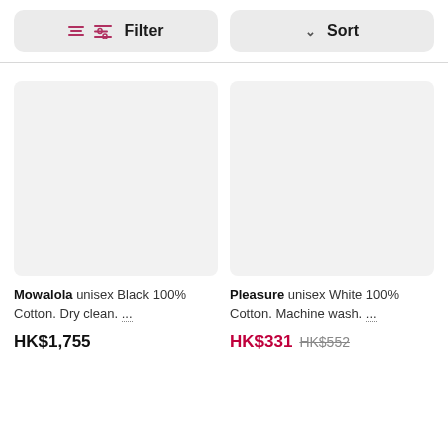[Figure (screenshot): Filter and Sort toolbar buttons]
[Figure (photo): Product image placeholder for Mowalola unisex Black item (light gray rectangle)]
Mowalola unisex Black 100% Cotton. Dry clean. ...
HK$1,755
[Figure (photo): Product image placeholder for Pleasure unisex White item (light gray rectangle)]
Pleasure unisex White 100% Cotton. Machine wash. ...
HK$331 HK$552